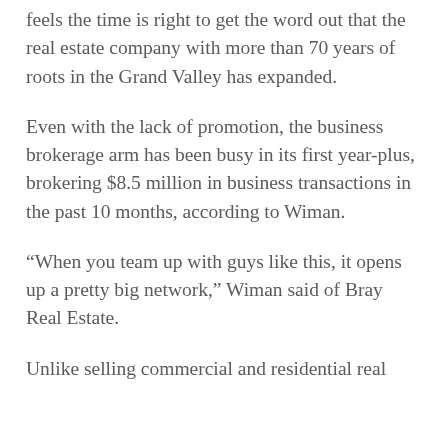feels the time is right to get the word out that the real estate company with more than 70 years of roots in the Grand Valley has expanded.
Even with the lack of promotion, the business brokerage arm has been busy in its first year-plus, brokering $8.5 million in business transactions in the past 10 months, according to Wiman.
“When you team up with guys like this, it opens up a pretty big network,” Wiman said of Bray Real Estate.
Unlike selling commercial and residential real